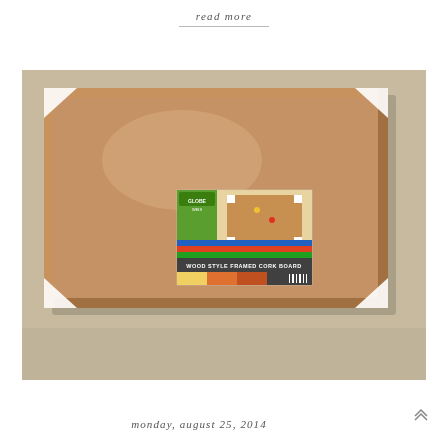read more
[Figure (photo): A wood style framed cork board lying on a beige carpet, shown with its original packaging label attached in the center. The cork board has white corner protectors and a wooden frame. The label reads 'WOOD STYLE FRAMED CORK BOARD'.]
monday, august 25, 2014